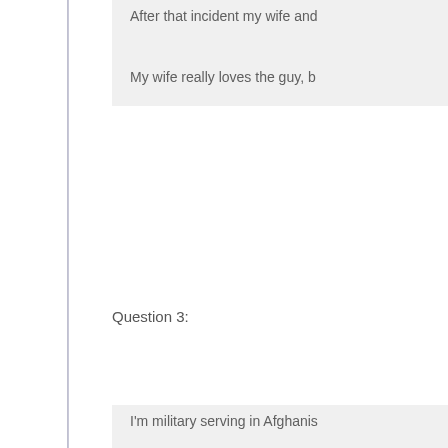After that incident my wife and
My wife really loves the guy, b
Question 3:
I'm military serving in Afghanis
Recently, we've increased our
All sort of situations played ou
We then ventured into adding s
Then after Saturday night I wa
She has expressed sexual frus